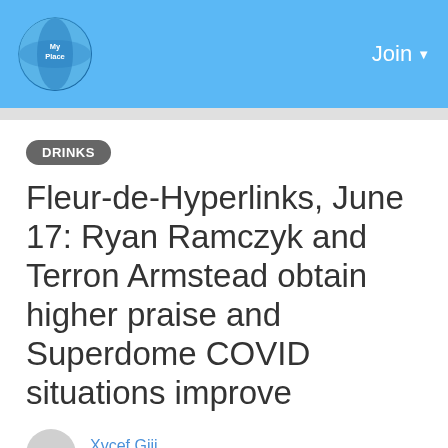My Place — Join
DRINKS
Fleur-de-Hyperlinks, June 17: Ryan Ramczyk and Terron Armstead obtain higher praise and Superdome COVID situations improve
Xvcef Gjjj
Posted 2 years ago
0  705